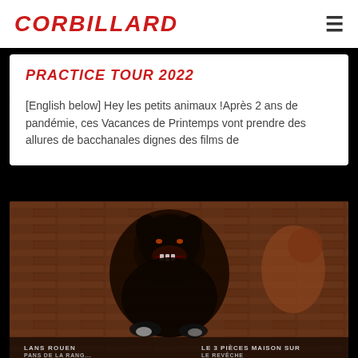CORBILLARD
PRACTICE TOUR 2022
[English below] Hey les petits animaux !Après 2 ans de pandémie, ces Vacances de Printemps vont prendre des allures de bacchanales dignes des films de
[Figure (photo): Dark image of a snarling dog against a brick wall background, with text at the bottom reading 'LANS ROUEN LE 3 PIÈCES MAISON SUR PANS DE LA RANG... LE REVÊCHE']